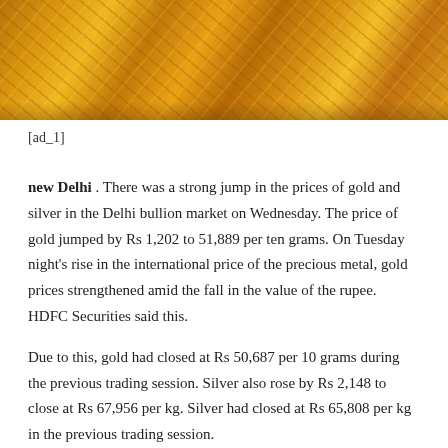[Figure (photo): Close-up photograph of gold jewelry items with intricate patterns and embellishments in warm golden tones]
[ad_1]
new Delhi . There was a strong jump in the prices of gold and silver in the Delhi bullion market on Wednesday. The price of gold jumped by Rs 1,202 to 51,889 per ten grams. On Tuesday night's rise in the international price of the precious metal, gold prices strengthened amid the fall in the value of the rupee. HDFC Securities said this.
Due to this, gold had closed at Rs 50,687 per 10 grams during the previous trading session. Silver also rose by Rs 2,148 to close at Rs 67,956 per kg. Silver had closed at Rs 65,808 per kg in the previous trading session.